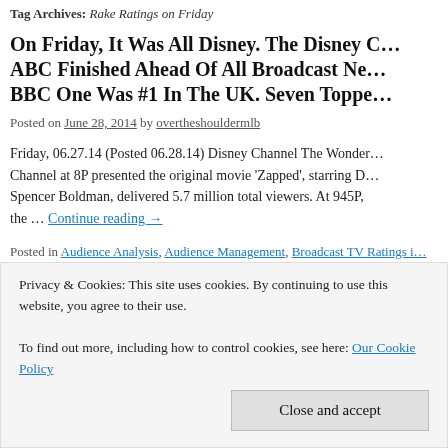Tag Archives: Rake Ratings on Friday
On Friday, It Was All Disney. The Disney Channel ABC Finished Ahead Of All Broadcast Ne… BBC One Was #1 In The UK. Seven Toppe…
Posted on June 28, 2014 by overtheshouldermlb
Friday, 06.27.14 (Posted 06.28.14) Disney Channel The Wonder… Channel at 8P presented the original movie 'Zapped', starring D… Spencer Boldman, delivered 5.7 million total viewers. At 945P, the …
Continue reading →
Posted in Audience Analysis, Audience Management, Broadcast TV Ratings i… UK, Broadcast TV Ratings in US, Cable TV Ratings, Daily Broadcast Ratings… Ratings, Late Night TV Ratings, Media Management, Television Program Re… History, Uncategorized | Tagged 20/20 Ratings on Friday, A Current Affair Rat…
Privacy & Cookies: This site uses cookies. By continuing to use this website, you agree to their use.
To find out more, including how to control cookies, see here: Our Cookie Policy
Close and accept